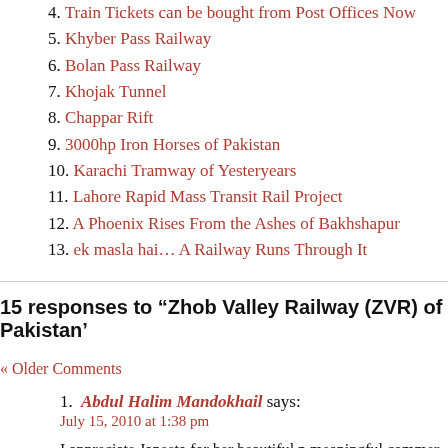4. Train Tickets can be bought from Post Offices Now
5. Khyber Pass Railway
6. Bolan Pass Railway
7. Khojak Tunnel
8. Chappar Rift
9. 3000hp Iron Horses of Pakistan
10. Karachi Tramway of Yesteryears
11. Lahore Rapid Mass Transit Rail Project
12. A Phoenix Rises From the Ashes of Bakhshapur
13. ek masla hai… A Railway Runs Through It
15 responses to “Zhob Valley Railway (ZVR) of Pakistan’
« Older Comments
Abdul Halim Mandokhail says:
July 15, 2010 at 1:38 pm
I appreciate Janeeta for her beautiful n meaningful commer my Valley Zhob n my Country Pakistan. I m the Local Citiz Zhob Valley. belongs to Mandokhail Tribe…. Actually Zho